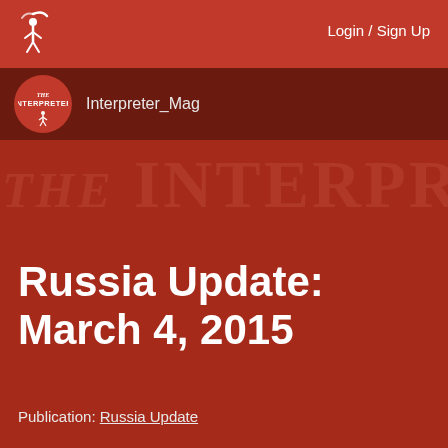Login / Sign Up
[Figure (logo): The Interpreter magazine logo — circular red badge with 'THE INTERPRETER' text and a figure icon above on red navigation bar]
Interpreter_Mag
[Figure (illustration): Watermark text reading 'THE INTERPRE' in large faded letters on dark red background]
Russia Update: March 4, 2015
Publication: Russia Update